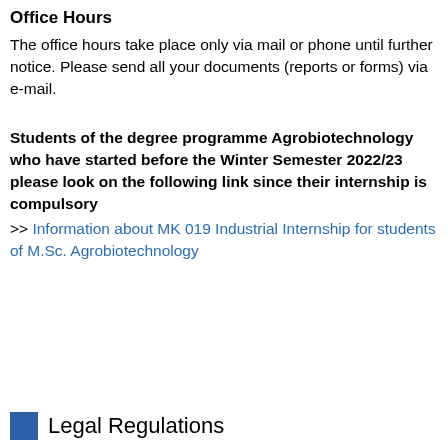Office Hours
The office hours take place only via mail or phone until further notice. Please send all your documents (reports or forms) via e-mail.
Students of the degree programme Agrobiotechnology who have started before the Winter Semester 2022/23 please look on the following link since their internship is compulsory
>> Information about MK 019 Industrial Internship for students of M.Sc. Agrobiotechnology
Legal Regulations